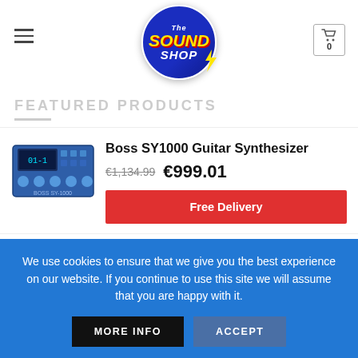The Sound Shop
FEATURED PRODUCTS
[Figure (photo): Boss SY1000 Guitar Synthesizer product photo – blue multi-effects pedal unit with display]
Boss SY1000 Guitar Synthesizer
€1,134.99  €999.01
Free Delivery
[Figure (photo): LD Systems CURV500ES PA System product photo – small column speaker on stand]
LD Systems CURV500ES PA System
€939.00
Free Delivery
We use cookies to ensure that we give you the best experience on our website. If you continue to use this site we will assume that you are happy with it.
MORE INFO
ACCEPT